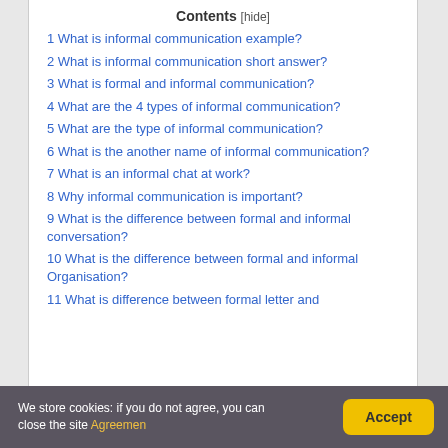Contents [hide]
1 What is informal communication example?
2 What is informal communication short answer?
3 What is formal and informal communication?
4 What are the 4 types of informal communication?
5 What are the type of informal communication?
6 What is the another name of informal communication?
7 What is an informal chat at work?
8 Why informal communication is important?
9 What is the difference between formal and informal conversation?
10 What is the difference between formal and informal Organisation?
11 What is difference between formal letter and
We store cookies: if you do not agree, you can close the site Agreemen